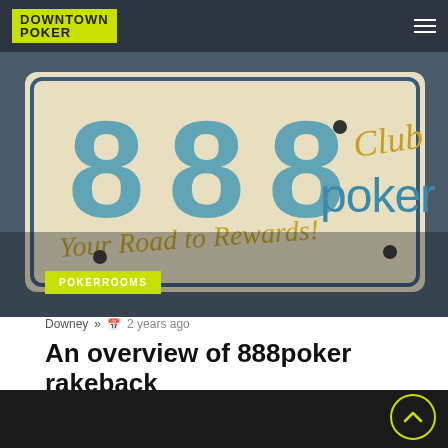DOWNTOWN POKER
[Figure (photo): Photo of 888 Club poker sign reading 'Your Road to Rewards!' with large teal/blue 888 numerals and gold script lettering on a beige license-plate style sign]
POKERROOMS
Downey » 2 years ago
An overview of 888poker rakeback
[Figure (photo): Dark bottom strip partial image of poker scene]